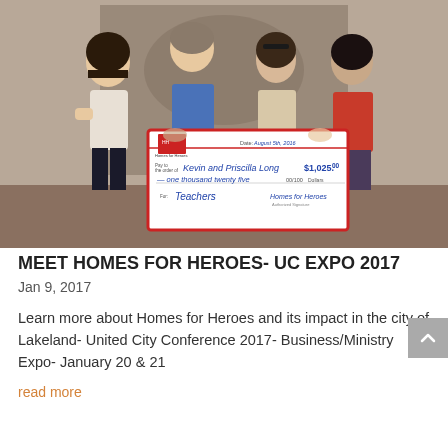[Figure (photo): Four people (two women on left and right, one man and one woman in center) holding a large oversized check made out to Kevin and Priscilla Long for $1,025.00, written 'one thousand twenty five', for 'Teachers', dated August 5th, 2016, signed by Homes for Heroes.]
MEET HOMES FOR HEROES- UC EXPO 2017
Jan 9, 2017
Learn more about Homes for Heroes and its impact in the city of Lakeland- United City Conference 2017- Business/Ministry Expo- January 20 & 21
read more